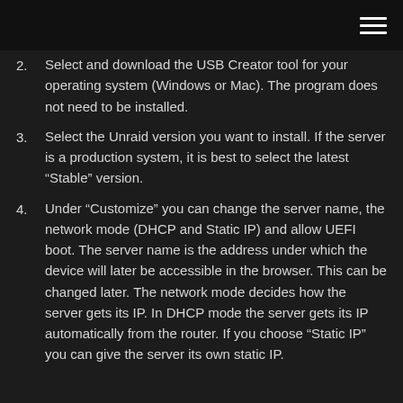2. Select and download the USB Creator tool for your operating system (Windows or Mac). The program does not need to be installed.
3. Select the Unraid version you want to install. If the server is a production system, it is best to select the latest “Stable” version.
4. Under “Customize” you can change the server name, the network mode (DHCP and Static IP) and allow UEFI boot. The server name is the address under which the device will later be accessible in the browser. This can be changed later. The network mode decides how the server gets its IP. In DHCP mode the server gets its IP automatically from the router. If you choose “Static IP” you can give the server its own static IP.